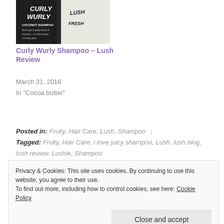[Figure (photo): Product photo of Lush Curly Wurly Coconut Shampoo bottle with dark background and white text]
Curly Wurly Shampoo – Lush Review
March 31, 2016
In "Cocoa butter"
Posted in: Fruity, Hair Care, Lush, Shampoo | Tagged: Fruity, Hair Care, i love juicy shampoo, Lush, lush blog, lush review, Lushie, Shampoo
Privacy & Cookies: This site uses cookies. By continuing to use this website, you agree to their use. To find out more, including how to control cookies, see here: Cookie Policy